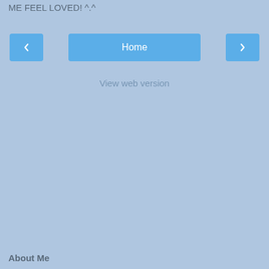ME FEEL LOVED! ^.^
[Figure (screenshot): Navigation bar with left arrow button, Home center button, and right arrow button on a light blue background]
View web version
About Me